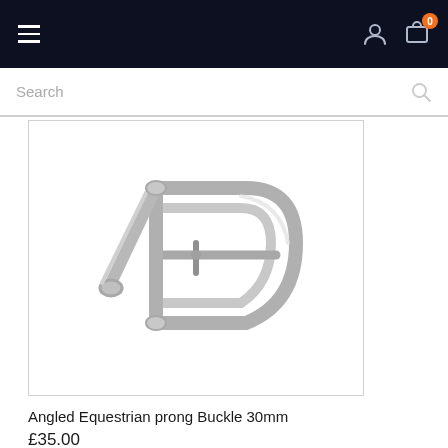Navigation bar with hamburger menu, user icon, and cart icon with badge 0
Search
[Figure (photo): Silver angled equestrian prong buckle 30mm, metallic D-ring style with a center bar and prong]
Angled Equestrian prong Buckle 30mm
£35.00